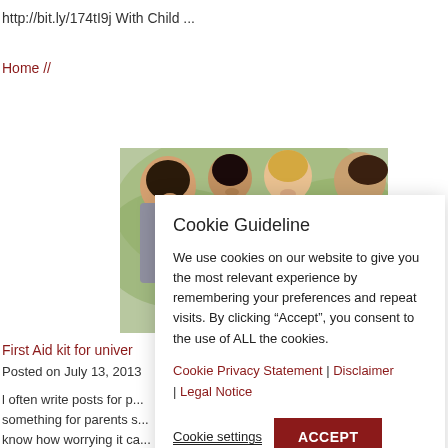http://bit.ly/174tI9j With Child ...
Home //
[Figure (photo): Group of young people looking down at something together, photographed from above outdoors with green background]
First Aid kit for univer
Posted on July 13, 2013
l often write posts for p... something for parents s... know how worrying it ca...
Cookie Guideline
We use cookies on our website to give you the most relevant experience by remembering your preferences and repeat visits. By clicking “Accept”, you consent to the use of ALL the cookies.
Cookie Privacy Statement | Disclaimer | Legal Notice